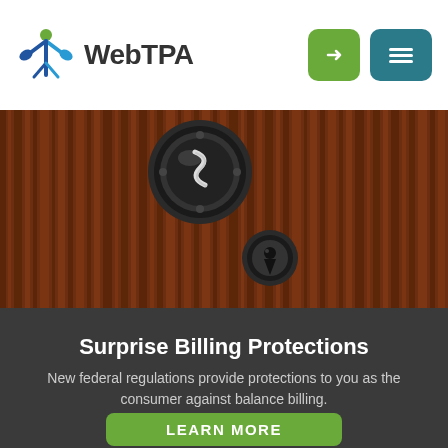WebTPA
[Figure (photo): Close-up photograph of a vintage wooden door with an ornate black metal lock mechanism and keyhole]
Surprise Billing Protections
New federal regulations provide protections to you as the consumer against balance billing.
LEARN MORE